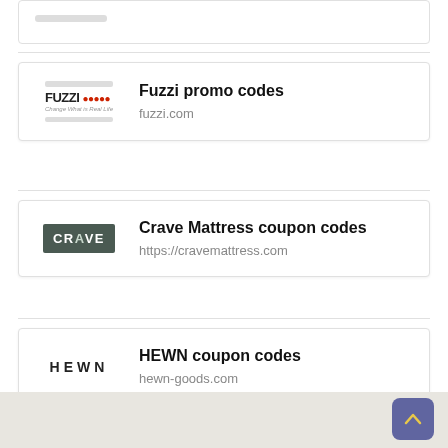Fuzzi promo codes
fuzzi.com
Crave Mattress coupon codes
https://cravemattress.com
HEWN coupon codes
hewn-goods.com